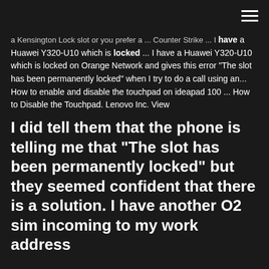[hamburger menu icon]
a Kensington Lock slot or you prefer a ... Counter Strike ... I have a Huawei Y320-U10 which is locked ... I have a Huawei Y320-U10 which is locked on Orange Network and gives this error "The slot has been permanently locked" when I try to do a call using an... How to enable and disable the touchpad on ideapad 100 ... How to Disable the Touchpad. Lenovo Inc. View
I did tell them that the phone is telling me that "The slot has been permanently locked" but they seemed confident that there is a solution. I have another O2 sim incoming to my work address